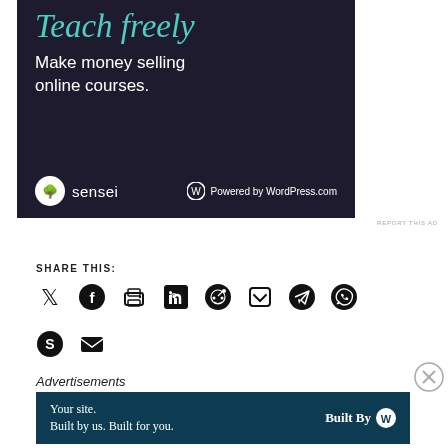[Figure (screenshot): Advertisement banner with dark background showing 'Teach freely' italic teal heading, 'Make money selling online courses.' in white, Sensei logo and 'Powered by WordPress.com' at bottom]
REPORT THIS AD
SHARE THIS:
[Figure (other): Row of social media share icons: Twitter, Facebook, Print, LinkedIn, Reddit, Pocket, Telegram, WhatsApp]
[Figure (other): Second row of share icons: Skype, Email]
Advertisements
[Figure (screenshot): WordPress.com ad banner: 'Your site. Built by us. Built for you.' with 'Built By' WordPress logo on dark teal background]